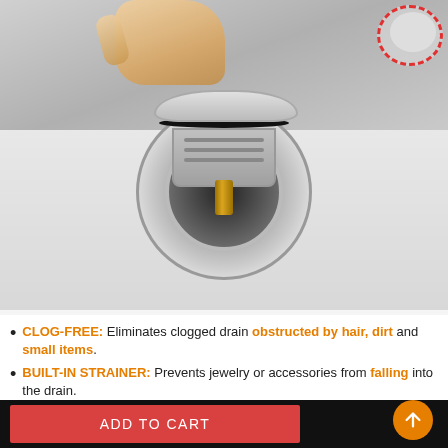[Figure (photo): A hand holding and lifting a chrome sink drain stopper/strainer out of a bathroom sink drain. The drain has a stainless steel surround and the stopper has a brass/gold threaded stem. A red dashed circle appears in the upper right corner annotating a detail.]
CLOG-FREE: Eliminates clogged drain obstructed by hair, dirt and small items.
BUILT-IN STRAINER: Prevents jewelry or accessories from falling into the drain.